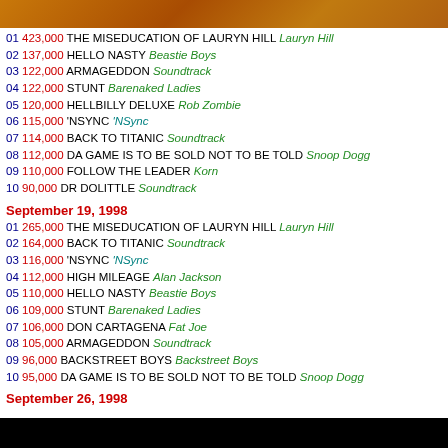[Figure (photo): Top portion of an album cover image, orange/amber tones]
01 423,000 THE MISEDUCATION OF LAURYN HILL Lauryn Hill
02 137,000 HELLO NASTY Beastie Boys
03 122,000 ARMAGEDDON Soundtrack
04 122,000 STUNT Barenaked Ladies
05 120,000 HELLBILLY DELUXE Rob Zombie
06 115,000 'NSYNC 'NSync
07 114,000 BACK TO TITANIC Soundtrack
08 112,000 DA GAME IS TO BE SOLD NOT TO BE TOLD Snoop Dogg
09 110,000 FOLLOW THE LEADER Korn
10 90,000 DR DOLITTLE Soundtrack
September 19, 1998
01 265,000 THE MISEDUCATION OF LAURYN HILL Lauryn Hill
02 164,000 BACK TO TITANIC Soundtrack
03 116,000 'NSYNC 'NSync
04 112,000 HIGH MILEAGE Alan Jackson
05 110,000 HELLO NASTY Beastie Boys
06 109,000 STUNT Barenaked Ladies
07 106,000 DON CARTAGENA Fat Joe
08 105,000 ARMAGEDDON Soundtrack
09 96,000 BACKSTREET BOYS Backstreet Boys
10 95,000 DA GAME IS TO BE SOLD NOT TO BE TOLD Snoop Dogg
September 26, 1998